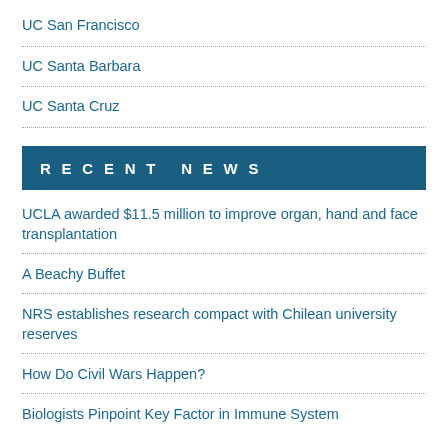UC San Francisco
UC Santa Barbara
UC Santa Cruz
RECENT NEWS
UCLA awarded $11.5 million to improve organ, hand and face transplantation
A Beachy Buffet
NRS establishes research compact with Chilean university reserves
How Do Civil Wars Happen?
Biologists Pinpoint Key Factor in Immune System